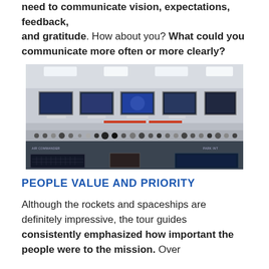need to communicate vision, expectations, feedback, and gratitude. How about you? What could you communicate more often or more clearly?
[Figure (photo): Interior of a mission control room showing a console panel with screens and buttons, framed space mission images on the wall above, and recessed ceiling lights.]
PEOPLE VALUE AND PRIORITY
Although the rockets and spaceships are definitely impressive, the tour guides consistently emphasized how important the people were to the mission. Over